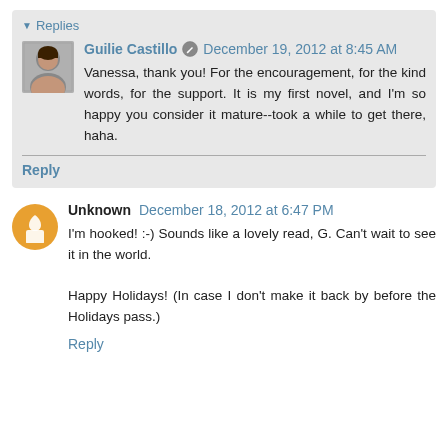Replies
Guilie Castillo  December 19, 2012 at 8:45 AM
Vanessa, thank you! For the encouragement, for the kind words, for the support. It is my first novel, and I'm so happy you consider it mature--took a while to get there, haha.
Reply
Unknown  December 18, 2012 at 6:47 PM
I'm hooked! :-) Sounds like a lovely read, G. Can't wait to see it in the world.

Happy Holidays! (In case I don't make it back by before the Holidays pass.)
Reply